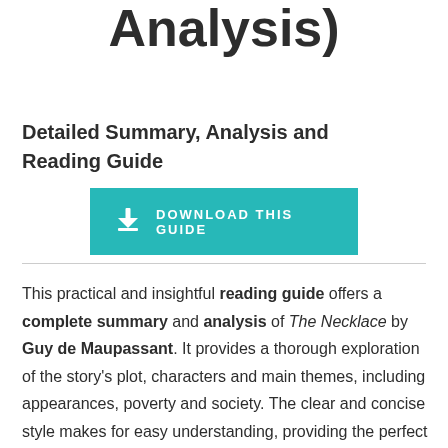Analysis)
Detailed Summary, Analysis and Reading Guide
[Figure (other): Teal download button with download icon and text DOWNLOAD THIS GUIDE]
This practical and insightful reading guide offers a complete summary and analysis of The Necklace by Guy de Maupassant. It provides a thorough exploration of the story's plot, characters and main themes, including appearances, poverty and society. The clear and concise style makes for easy understanding, providing the perfect opportunity to improve your literary knowledge by gaining a better...